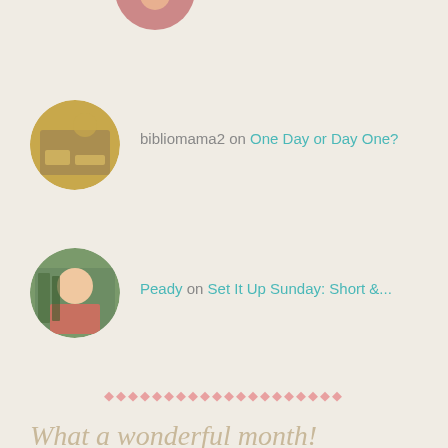[Figure (photo): Partial avatar of a person with red top, cropped at top of page]
bibliomama2 on One Day or Day One?
[Figure (photo): Avatar of a person with gold/brown tones]
Peady on Set It Up Sunday: Short &...
[Figure (photo): Avatar of a woman with blonde hair in red top]
♦♦♦♦♦♦♦♦♦♦♦♦♦♦♦♦♦♦♦♦
What a wonderful month!
May 2014
| M | T | W | T | F | S | S |
| --- | --- | --- | --- | --- | --- | --- |
|  |  |  | 1 | 2 | 3 | 4 |
| 5 | 6 | 7 | 8 | 9 | 10 | 11 |